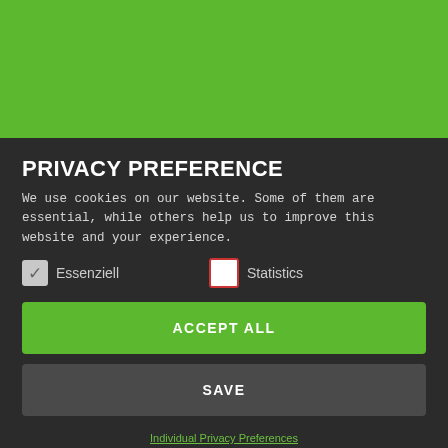[Figure (screenshot): Green background banner at the top of the page]
PRIVACY PREFERENCE
We use cookies on our website. Some of them are essential, while others help us to improve this website and your experience.
Essenziell  Statistics
ACCEPT ALL
SAVE
Individual Privacy Preferences
Cookie Details | Privacy Policy | Imprint